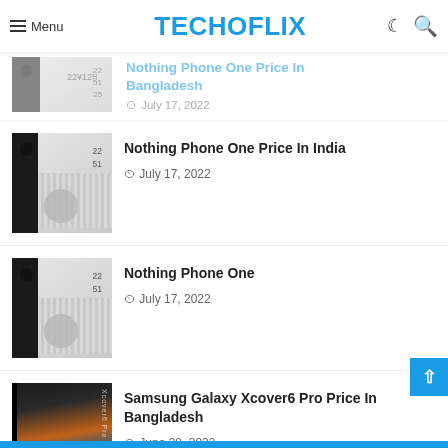Menu TECHOFLIX
[Figure (screenshot): Partially visible article thumbnail for Nothing Phone One Price In Bangladesh]
Nothing Phone One Price In Bangladesh
July 17, 2022
[Figure (photo): Nothing Phone One white device showing back panel with dual cameras and ribbed glass design]
Nothing Phone One Price In India
July 17, 2022
[Figure (photo): Nothing Phone One white device showing back panel with dual cameras and ribbed glass design]
Nothing Phone One
July 17, 2022
[Figure (photo): Samsung Galaxy Xcover6 Pro dark device showing colorful back]
Samsung Galaxy Xcover6 Pro Price In Bangladesh
June 30, 2022
[Figure (photo): Samsung Galaxy Xcover6 Pro dark device showing colorful back]
Samsung Galaxy Xcover6 Pro Price In India
June 30, 2022